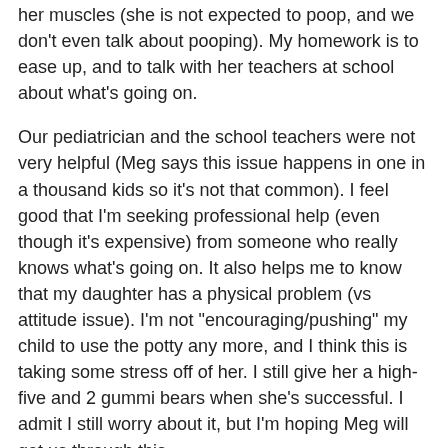her muscles (she is not expected to poop, and we don't even talk about pooping). My homework is to ease up, and to talk with her teachers at school about what's going on.
Our pediatrician and the school teachers were not very helpful (Meg says this issue happens in one in a thousand kids so it's not that common). I feel good that I'm seeking professional help (even though it's expensive) from someone who really knows what's going on. It also helps me to know that my daughter has a physical problem (vs attitude issue). I'm not "encouraging/pushing" my child to use the potty any more, and I think this is taking some stress off of her. I still give her a high-five and 2 gummi bears when she's successful. I admit I still worry about it, but I'm hoping Meg will get us through this.
Good luck! Signed, "Mom is learning to ease up!"
We are in the same situation. Basically, I have gone to watching the clock and taking my daughter (often picking her up and carrying her) to the potty if she haven't gone in the last 3 hours. And if she has an "accident", we don't go to anyone else's house to play for the rest of the week (tho I allow friends